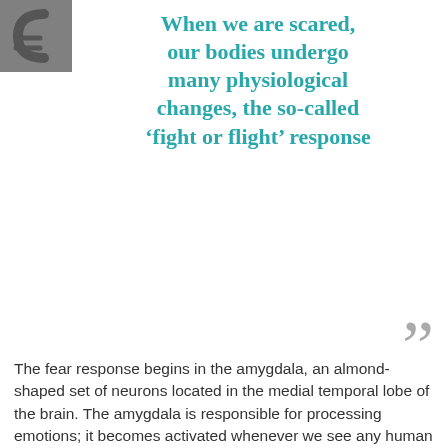[Figure (logo): Grey square logo block in top-left corner with stylized letter shapes]
When we are scared, our bodies undergo many physiological changes, the so-called ‘fight or flight’ response
The fear response begins in the amygdala, an almond-shaped set of neurons located in the medial temporal lobe of the brain. The amygdala is responsible for processing emotions; it becomes activated whenever we see any human face bearing an emotion. When it comes to anger and fear, however, this response is much more